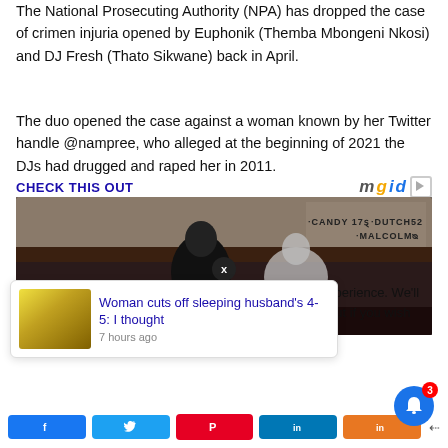The National Prosecuting Authority (NPA) has dropped the case of crimen injuria opened by Euphonik (Themba Mbongeni Nkosi) and DJ Fresh (Thato Sikwane) back in April.
The duo opened the case against a woman known by her Twitter handle @nampree, who alleged at the beginning of 2021 the DJs had drugged and raped her in 2011.
CHECK THIS OUT
[Figure (photo): Two men posing against a wall with graffiti text reading CANDY 178, DUTCH52, MALCOLM. One man in dark clothing, another leaning on his shoulder in lighter clothing.]
Woman cuts off sleeping husband's 4-5: I thought
7 hours ago
xperience. We'll out if you wish